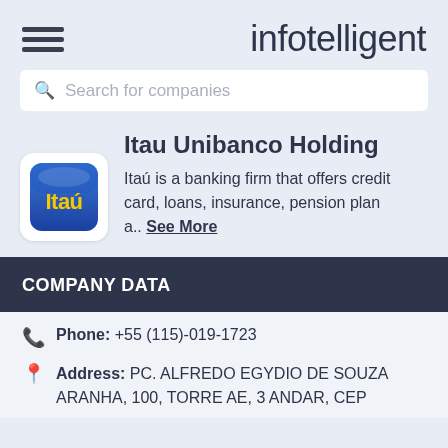infotelligent
Search for companies
Itau Unibanco Holding
[Figure (logo): Itaú bank logo: blue rounded square with yellow Itaú text]
Itaú is a banking firm that offers credit card, loans, insurance, pension plan a.. See More
COMPANY DATA
Phone: +55 (115)-019-1723
Address: PC. ALFREDO EGYDIO DE SOUZA ARANHA, 100, TORRE AE, 3 ANDAR, CEP